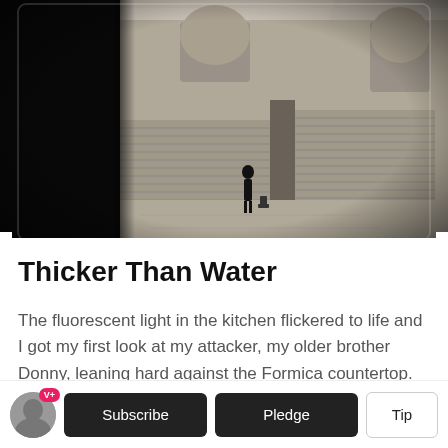[Figure (photo): Black and white photograph of a covered market or bazaar corridor with arched ceilings, metal roll-up shutters on storefronts, a lone silhouetted figure standing near a fire hydrant, and dramatic light creating strong contrasts.]
Thicker Than Water
The fluorescent light in the kitchen flickered to life and I got my first look at my attacker, my older brother Donny, leaning hard against the Formica countertop. He was...